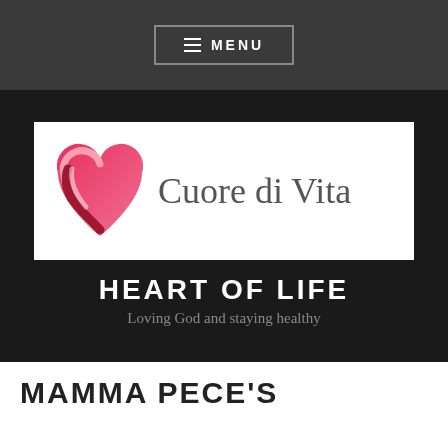≡ MENU
[Figure (logo): Cuore di Vita logo with pink heart icon and text 'Cuore di Vita']
HEART OF LIFE
Loving God and staying healthy
MAMMA PECE'S